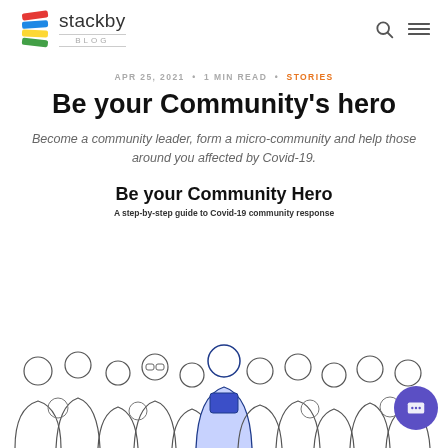stackby BLOG
APR 25, 2021 • 1 MIN READ • STORIES
Be your Community's hero
Become a community leader, form a micro-community and help those around you affected by Covid-19.
Be your Community Hero
A step-by-step guide to Covid-19 community response
[Figure (illustration): Group of illustrated people in line-art style, with a central figure highlighted in blue]